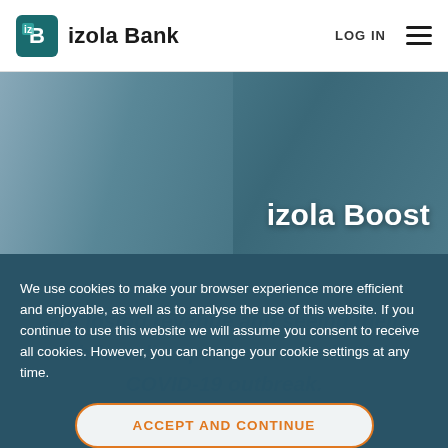izola Bank | LOG IN
[Figure (photo): Hero image of a person with the title 'izola Boost' overlaid on the right side]
We use cookies to make your browser experience more efficient and enjoyable, as well as to analyse the use of this website. If you continue to use this website we will assume you consent to receive all cookies. However, you can change your cookie settings at any time.
ACCEPT AND CONTINUE
Read our full Cookie Policy